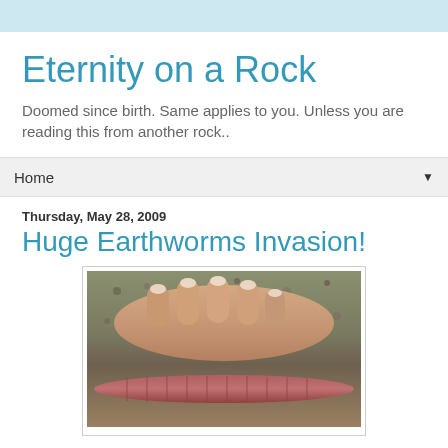Eternity on a Rock
Doomed since birth. Same applies to you. Unless you are reading this from another rock..
Home
Thursday, May 28, 2009
Huge Earthworms Invasion!
[Figure (photo): A hand resting on gravel next to a large earthworm, shown from above.]